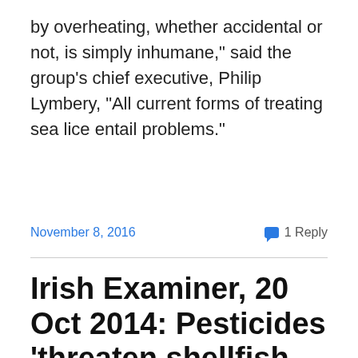by overheating, whether accidental or not, is simply inhumane,” said the group’s chief executive, Philip Lymbery, “All current forms of treating sea lice entail problems.”
November 8, 2016
1 Reply
Irish Examiner, 20 Oct 2014: Pesticides ‘threaten shellfish industry’